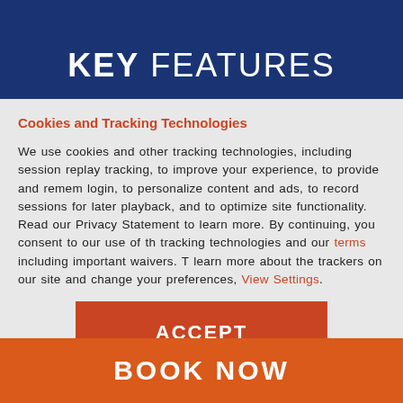KEY FEATURES
Cookies and Tracking Technologies
We use cookies and other tracking technologies, including session replay tracking, to improve your experience, to provide and remember login, to personalize content and ads, to record sessions for later playback, and to optimize site functionality. Read our Privacy Statement to learn more. By continuing, you consent to our use of these tracking technologies and our terms including important waivers. To learn more about the trackers on our site and change your preferences, View Settings.
ACCEPT
BOOK NOW